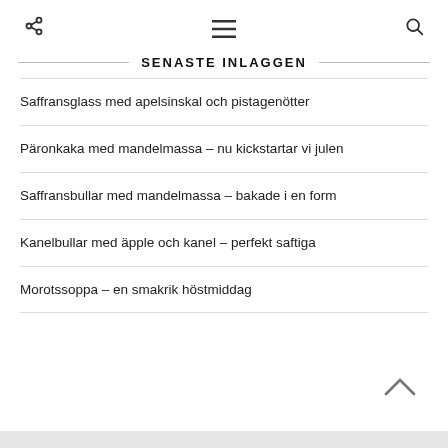[share icon] [menu icon] [search icon]
SENASTE INLAGGEN
Saffransglass med apelsinskal och pistagenötter
Päronkaka med mandelmassa – nu kickstartar vi julen
Saffransbullar med mandelmassa – bakade i en form
Kanelbullar med äpple och kanel – perfekt saftiga
Morotssoppa – en smakrik höstmiddag